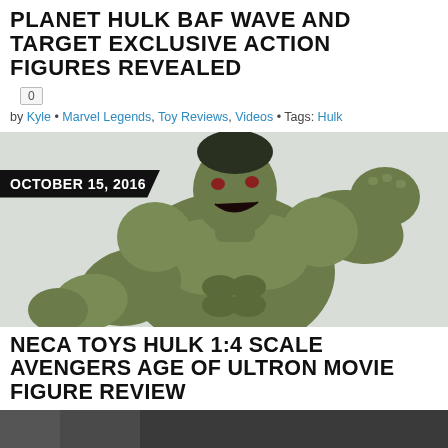PLANET HULK BAF WAVE AND TARGET EXCLUSIVE ACTION FIGURES REVEALED
0
by Kyle • Marvel Legends, Toy Reviews, Videos • Tags: Hulk
[Figure (photo): Green Hulk action figure in aggressive pose with fists raised, with OCTOBER 15, 2016 date overlay]
NECA TOYS HULK 1:4 SCALE AVENGERS AGE OF ULTRON MOVIE FIGURE REVIEW
0
by Kyle • NECA, Photo Gallery, Toy Reviews, Videos • Tags: Hulk
[Figure (photo): Partially visible image at bottom of page]